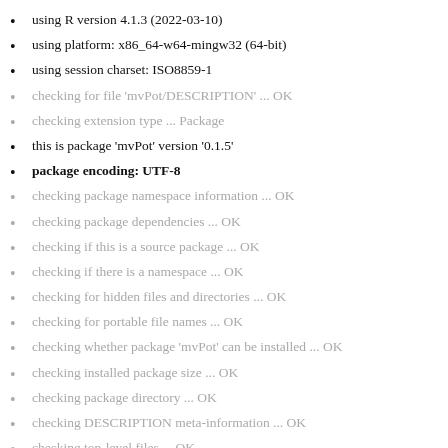using R version 4.1.3 (2022-03-10)
using platform: x86_64-w64-mingw32 (64-bit)
using session charset: ISO8859-1
checking for file 'mvPot/DESCRIPTION' ... OK
checking extension type ... Package
this is package 'mvPot' version '0.1.5'
package encoding: UTF-8
checking package namespace information ... OK
checking package dependencies ... OK
checking if this is a source package ... OK
checking if there is a namespace ... OK
checking for hidden files and directories ... OK
checking for portable file names ... OK
checking whether package 'mvPot' can be installed ... OK
checking installed package size ... OK
checking package directory ... OK
checking DESCRIPTION meta-information ... OK
checking top-level files ... OK
checking for left-over files ... OK
checking index information ... OK
checking package subdirectories ... OK
checking R files for non-ASCII characters ... OK
checking R files for syntax errors ... OK
loading checks for arch 'i386'